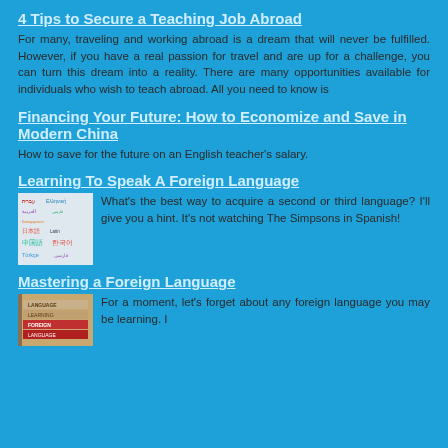4 Tips to Secure a Teaching Job Abroad
For many, traveling and working abroad is a dream that will never be fulfilled. However, if you have a real passion for travel and are up for a challenge, you can turn this dream into a reality. There are many opportunities available for individuals who wish to teach abroad. All you need to know is
Financing Your Future: How to Economize and Save in Modern China
How to save for the future on an English teacher's salary.
Learning To Speak A Foreign Language
[Figure (illustration): Word cloud image showing names of various languages in different scripts including Hebrew, Arabic, Japanese, Chinese, Korean, Turkish, Greek, Farsi]
What's the best way to acquire a second or third language? I'll give you a hint. It's not watching The Simpsons in Spanish!
Mastering a Foreign Language
[Figure (photo): Stack of foreign language learning books, reddish covers visible]
For a moment, let's forget about any foreign language you may be learning. I